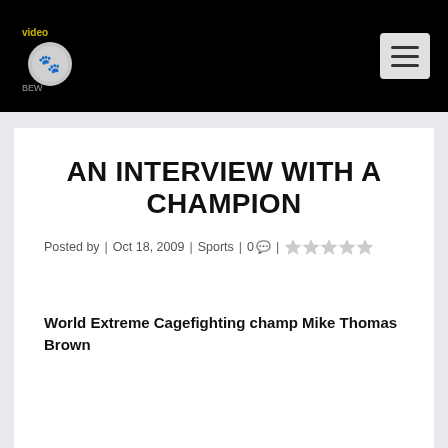Navigation bar with logo and hamburger menu
AN INTERVIEW WITH A CHAMPION
Posted by | Oct 18, 2009 | Sports | 0 | ★★★★★
World Extreme Cagefighting champ Mike Thomas Brown